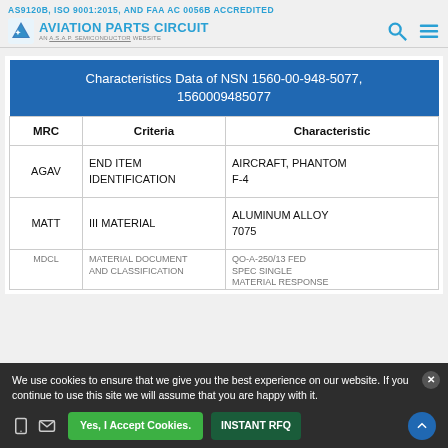AS9120B, ISO 9001:2015, AND FAA AC 0056B ACCREDITED
[Figure (logo): Aviation Parts Circuit logo - AN A.S.A.P. SEMICONDUCTOR WEBSITE]
| MRC | Criteria | Characteristic |
| --- | --- | --- |
| AGAV | END ITEM IDENTIFICATION | AIRCRAFT, PHANTOM F-4 |
| MATT | III MATERIAL | ALUMINUM ALLOY 7075 |
| MDCL | MATERIAL DOCUMENT AND CLASSIFICATION | QO-A-250/13 FED SPEC SINGLE MATERIAL RESPONSE |
We use cookies to ensure that we give you the best experience on our website. If you continue to use this site we will assume that you are happy with it.